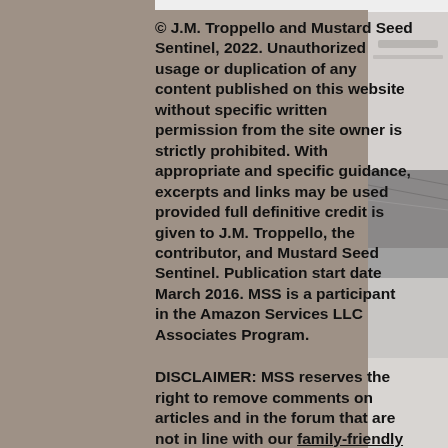© J.M. Troppello and Mustard Seed Sentinel, 2022. Unauthorized usage or duplication of any content published on this website without specific written permission from the site owner is strictly prohibited. With appropriate and specific guidance, excerpts and links may be used provided full definitive credit is given to J.M. Troppello, the contributor, and Mustard Seed Sentinel. Publication start date March 2016. MSS is a participant in the Amazon Services LLC Associates Program.
DISCLAIMER: MSS reserves the right to remove comments on articles and in the forum that are not in line with our family-friendly brand and faith-based Christian magazine theme. Please make every effort to comment on articles and participate in the chat rooms in a friendly way that is devoid
[Figure (photo): Black and white photo strip on the right side of the page showing a coastal or outdoor scene.]